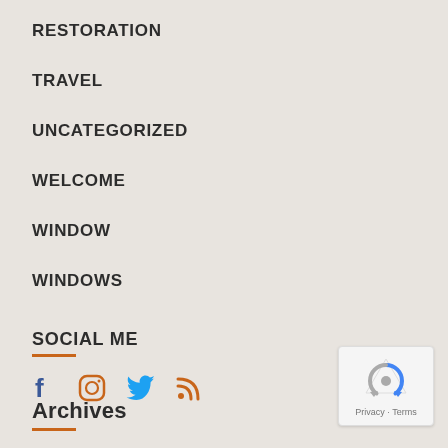RESTORATION
TRAVEL
UNCATEGORIZED
WELCOME
WINDOW
WINDOWS
SOCIAL ME
[Figure (infographic): Social media icons: Facebook (dark blue), Instagram (orange outline), Twitter (blue bird), RSS (orange)]
Archives
[Figure (other): Google reCAPTCHA badge with Privacy and Terms text]